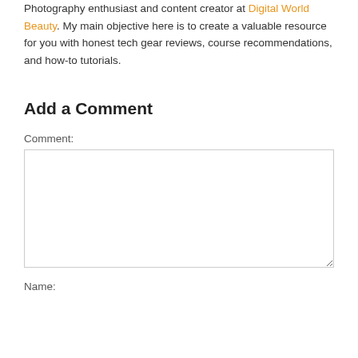Photography enthusiast and content creator at Digital World Beauty. My main objective here is to create a valuable resource for you with honest tech gear reviews, course recommendations, and how-to tutorials.
Add a Comment
Comment:
Name: